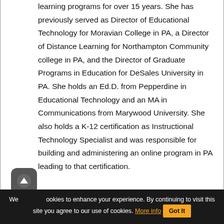learning programs for over 15 years. She has previously served as Director of Educational Technology for Moravian College in PA, a Director of Distance Learning for Northampton Community college in PA, and the Director of Graduate Programs in Education for DeSales University in PA. She holds an Ed.D. from Pepperdine in Educational Technology and an MA in Communications from Marywood University. She also holds a K-12 certification as Instructional Technology Specialist and was responsible for building and administering an online program in PA leading to that certification.
We use cookies to enhance your experience. By continuing to visit this site you agree to our use of cookies. More info Got It